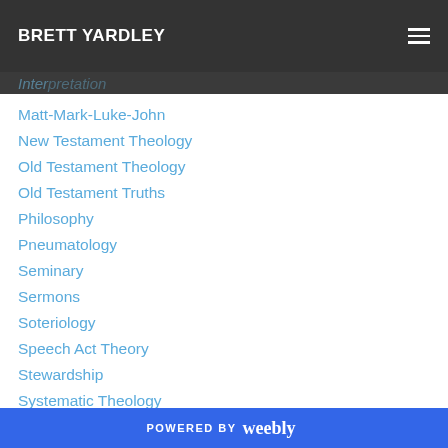BRETT YARDLEY
Matt-Mark-Luke-John
New Testament Theology
Old Testament Theology
Old Testament Truths
Philosophy
Pneumatology
Seminary
Sermons
Soteriology
Speech Act Theory
Stewardship
Systematic Theology
Teaching Resources
The Church
The Gospel
POWERED BY weebly